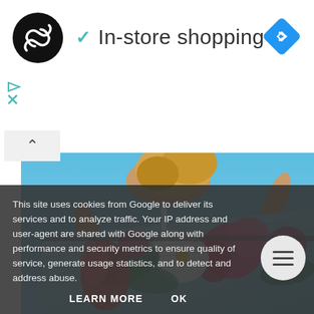[Figure (logo): Black circle logo with infinity/loop symbol in white]
✓ In-store shopping
[Figure (illustration): Blue diamond navigation arrow icon]
[Figure (infographic): Ad controls: play and X icons]
[Figure (photo): Woman holding a colorful tropical floral beach towel/sarong with flamingo and hibiscus print against a blue sky background]
This site uses cookies from Google to deliver its services and to analyze traffic. Your IP address and user-agent are shared with Google along with performance and security metrics to ensure quality of service, generate usage statistics, and to detect and address abuse.
LEARN MORE
OK